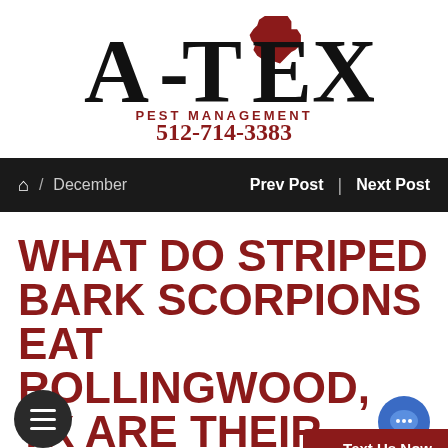[Figure (logo): A-TEX Pest Management logo with Texas state silhouette in red, large black serif text 'A-TEX', red text 'PEST MANAGEMENT' and phone number '512-714-3383']
Home / December   Prev Post | Next Post
WHAT DO STRIPED BARK SCORPIONS EAT ROLLINGWOOD, TX ARE THEIR STIN